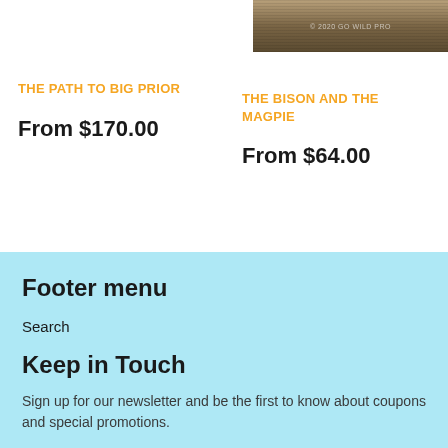[Figure (photo): Partial photo of bison/nature scene at top right of page]
THE PATH TO BIG PRIOR
From $170.00
THE BISON AND THE MAGPIE
From $64.00
Footer menu
Search
Keep in Touch
Sign up for our newsletter and be the first to know about coupons and special promotions.